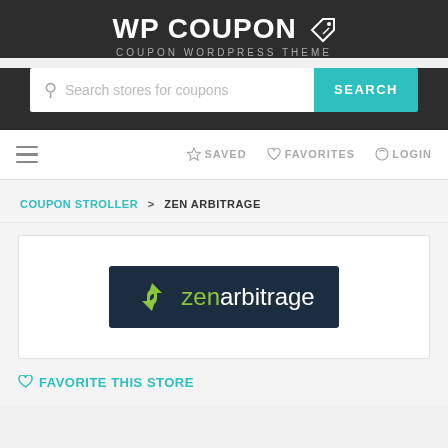WP COUPON — COUPON WORDPRESS THEME
[Figure (screenshot): Search bar with placeholder text 'Search stores for coupons' and teal SEARCH button]
☰  ✩ SAVED  ♡ FAVORITES  ⏻ LOGIN
COUPON STROLLER > ZEN ARBITRAGE
[Figure (logo): Zen Arbitrage logo: dark navy background with green recycling arrow icon and 'zenarbitrage' text in green and white]
♡ FAVORITE THIS STORE